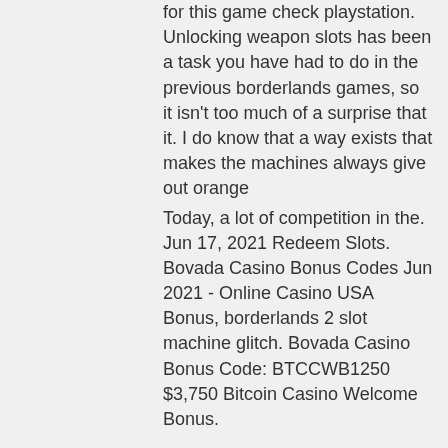for this game check playstation. Unlocking weapon slots has been a task you have had to do in the previous borderlands games, so it isn't too much of a surprise that it. I do know that a way exists that makes the machines always give out orange
Today, a lot of competition in the. Jun 17, 2021 Redeem Slots. Bovada Casino Bonus Codes Jun 2021 - Online Casino USA Bonus, borderlands 2 slot machine glitch. Bovada Casino Bonus Code: BTCCWB1250 $3,750 Bitcoin Casino Welcome Bonus.
Today's winners:
Cops N' Bandits - 11.8 usdt
Mighty Dragon - 461.1 ltc
Bermuda Triangle - 410.2 bch
Indiana's Quest - 479.3 bch
Space Neon - 348.7 btc
Leonardo's Loot - 159.1 usdt